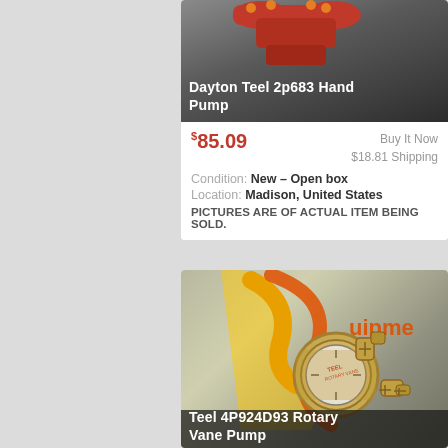[Figure (photo): Product photo of a red Dayton Teel 2p683 Hand Pump against a dark grey background]
Dayton Teel 2p683 Hand Pump
$85.09  Buy It Now  $18.81 Shipping
Condition: New – Open box
Location: Madison, United States
PICTURES ARE OF ACTUAL ITEM BEING SOLD.
[Figure (photo): Product photo of a brass/gold Teel 4P924D93 Rotary Vane Pump against a background with orange and yellow branding]
Teel 4P924D93 Rotary Vane Pump